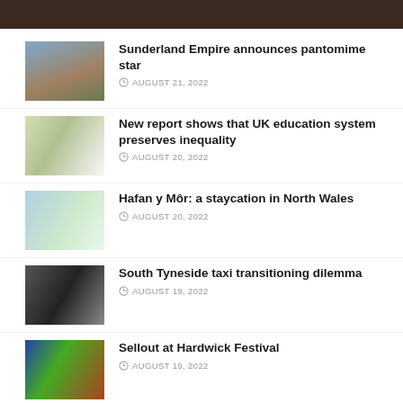[Figure (photo): Dark brown banner at top of page, partial image cropped]
Sunderland Empire announces pantomime star
AUGUST 21, 2022
New report shows that UK education system preserves inequality
AUGUST 20, 2022
Hafan y Môr: a staycation in North Wales
AUGUST 20, 2022
South Tyneside taxi transitioning dilemma
AUGUST 19, 2022
Sellout at Hardwick Festival
AUGUST 19, 2022